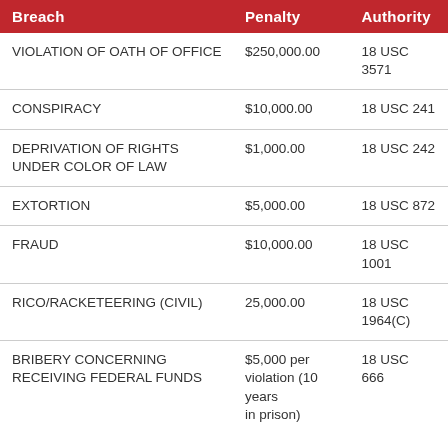| Breach | Penalty | Authority |
| --- | --- | --- |
| VIOLATION OF OATH OF OFFICE | $250,000.00 | 18 USC 3571 |
| CONSPIRACY | $10,000.00 | 18 USC 241 |
| DEPRIVATION OF RIGHTS UNDER COLOR OF LAW | $1,000.00 | 18 USC 242 |
| EXTORTION | $5,000.00 | 18 USC 872 |
| FRAUD | $10,000.00 | 18 USC 1001 |
| RICO/RACKETEERING (CIVIL) | 25,000.00 | 18 USC 1964(C) |
| BRIBERY CONCERNING RECEIVING FEDERAL FUNDS | $5,000 per violation (10 years in prison) | 18 USC 666 |